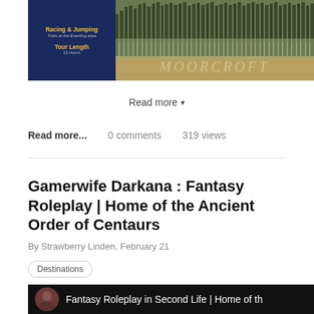[Figure (photo): Composite image showing a dark blue panel on the left with text 'Racing & Jumping Trials at the Eventing area' and 'Tour Length' in gold, and on the right a photograph of trees with 'MOORCROFT' text overlay]
Read more ▼
Read more...   0 comments   319 views
Gamerwife Darkana : Fantasy Roleplay | Home of the Ancient Order of Centaurs
By Strawberry Linden, February 21
Destinations
[Figure (screenshot): Video thumbnail showing a woman's avatar photo in a circle on the left and the text 'Fantasy Roleplay in Second Life | Home of th' on a black background]